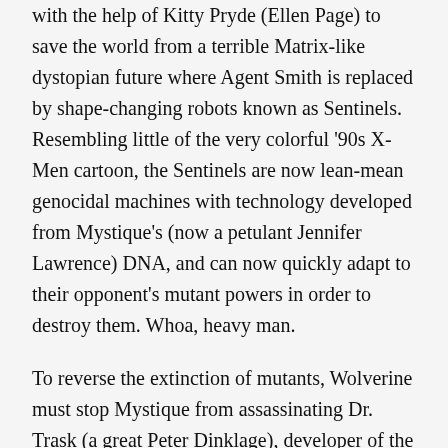with the help of Kitty Pryde (Ellen Page) to save the world from a terrible Matrix-like dystopian future where Agent Smith is replaced by shape-changing robots known as Sentinels. Resembling little of the very colorful '90s X-Men cartoon, the Sentinels are now lean-mean genocidal machines with technology developed from Mystique's (now a petulant Jennifer Lawrence) DNA, and can now quickly adapt to their opponent's mutant powers in order to destroy them. Whoa, heavy man.
To reverse the extinction of mutants, Wolverine must stop Mystique from assassinating Dr. Trask (a great Peter Dinklage), developer of the Sentinel program and bit of a mutant fetishist. If it sounds a little too simple and convenient, well